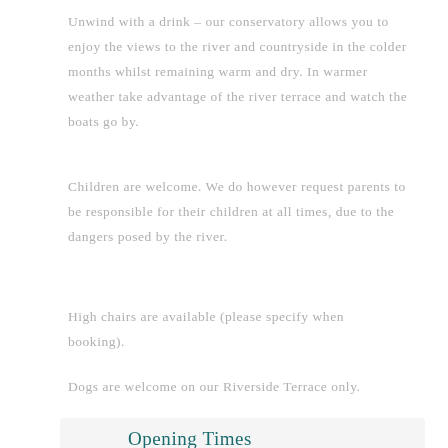Unwind with a drink – our conservatory allows you to enjoy the views to the river and countryside in the colder months whilst remaining warm and dry. In warmer weather take advantage of the river terrace and watch the boats go by.
Children are welcome. We do however request parents to be responsible for their children at all times, due to the dangers posed by the river.
High chairs are available (please specify when booking).
Dogs are welcome on our Riverside Terrace only.
Opening Times